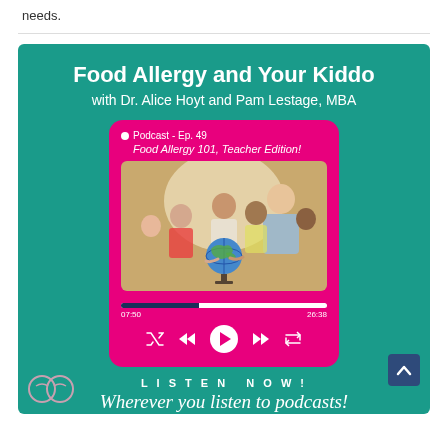needs.
[Figure (infographic): Food Allergy and Your Kiddo podcast promotional image. Teal background with title 'Food Allergy and Your Kiddo with Dr. Alice Hoyt and Pam Lestage, MBA'. A pink podcast player card showing Episode 49 'Food Allergy 101, Teacher Edition!' with a photo of a teacher and children looking at a globe, progress bar showing 07:50 of 26:38, playback controls. Below: 'LISTEN NOW! Wherever you listen to podcasts!']